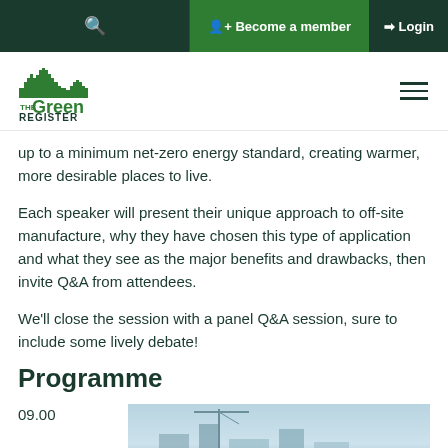🔍  👤+ Become a member  →] Login
[Figure (logo): The Green Register of Construction Professionals logo in green]
up to a minimum net-zero energy standard, creating warmer, more desirable places to live.
Each speaker will present their unique approach to off-site manufacture, why they have chosen this type of application and what they see as the major benefits and drawbacks, then invite Q&A from attendees.
We'll close the session with a panel Q&A session, sure to include some lively debate!
Programme
09.00
[Figure (photo): An outdoor photo showing a building or construction site]